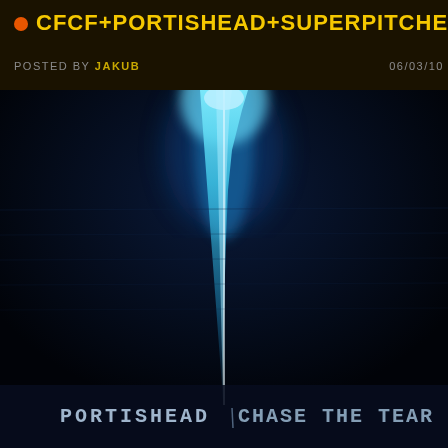CFCF+PORTISHEAD+SUPERPITCHER+BLONDES
POSTED BY JAKUB   06/03/10
[Figure (photo): Album artwork for Portishead 'Chase the Tear' — a dark blue/black image showing a bright cyan-blue streak or lightning bolt shape descending vertically against a deep dark navy background, with text at the bottom reading 'PORTISHEAD CHASE THE TEAR' in white monospaced capital letters.]